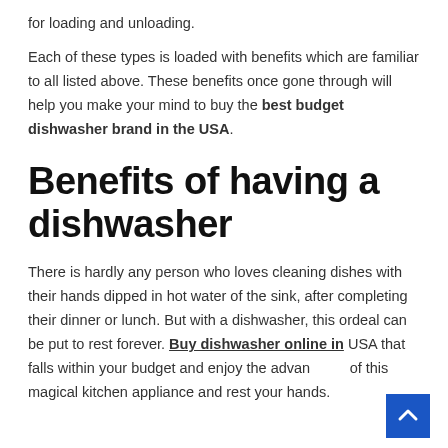for loading and unloading.
Each of these types is loaded with benefits which are familiar to all listed above. These benefits once gone through will help you make your mind to buy the best budget dishwasher brand in the USA.
Benefits of having a dishwasher
There is hardly any person who loves cleaning dishes with their hands dipped in hot water of the sink, after completing their dinner or lunch. But with a dishwasher, this ordeal can be put to rest forever. Buy dishwasher online in USA that falls within your budget and enjoy the advantages of this magical kitchen appliance and rest your hands.